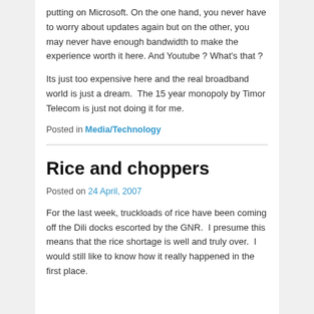putting on Microsoft. On the one hand, you never have to worry about updates again but on the other, you may never have enough bandwidth to make the experience worth it here. And Youtube ? What's that ?
Its just too expensive here and the real broadband world is just a dream.  The 15 year monopoly by Timor Telecom is just not doing it for me.
Posted in Media/Technology
Rice and choppers
Posted on 24 April, 2007
For the last week, truckloads of rice have been coming off the Dili docks escorted by the GNR.  I presume this means that the rice shortage is well and truly over.  I would still like to know how it really happened in the first place.